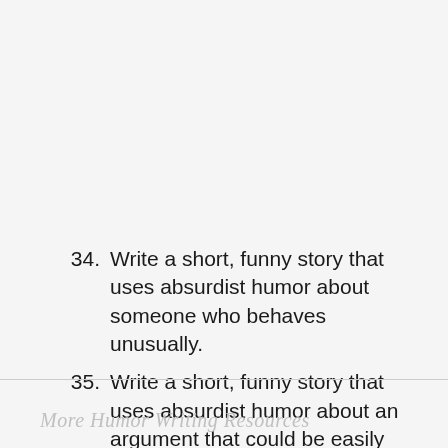34. Write a short, funny story that uses absurdist humor about someone who behaves unusually.
35. Write a short, funny story that uses absurdist humor about an argument that could be easily resolved.
More Humor Writing Resources